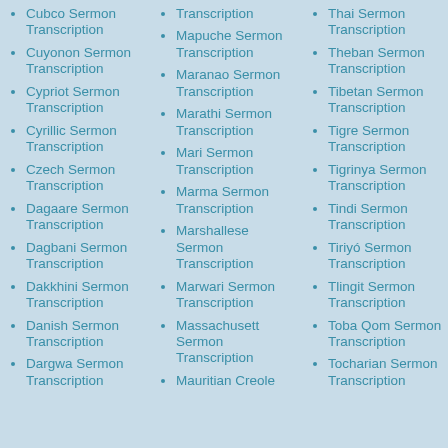Cubco Sermon Transcription
Cuyonon Sermon Transcription
Cypriot Sermon Transcription
Cyrillic Sermon Transcription
Czech Sermon Transcription
Dagaare Sermon Transcription
Dagbani Sermon Transcription
Dakkhini Sermon Transcription
Danish Sermon Transcription
Dargwa Sermon Transcription
Transcription
Mapuche Sermon Transcription
Maranao Sermon Transcription
Marathi Sermon Transcription
Mari Sermon Transcription
Marma Sermon Transcription
Marshallese Sermon Transcription
Marwari Sermon Transcription
Massachusett Sermon Transcription
Mauritian Creole
Thai Sermon Transcription
Theban Sermon Transcription
Tibetan Sermon Transcription
Tigre Sermon Transcription
Tigrinya Sermon Transcription
Tindi Sermon Transcription
Tiriyó Sermon Transcription
Tlingit Sermon Transcription
Toba Qom Sermon Transcription
Tocharian Sermon Transcription